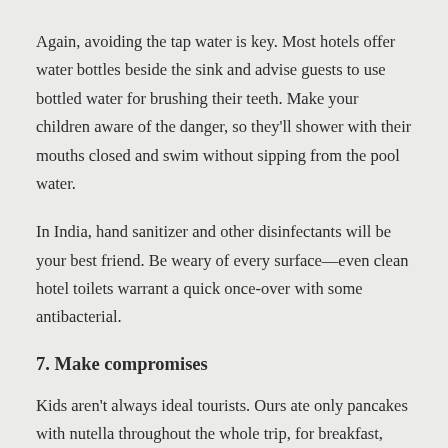Again, avoiding the tap water is key. Most hotels offer water bottles beside the sink and advise guests to use bottled water for brushing their teeth. Make your children aware of the danger, so they'll shower with their mouths closed and swim without sipping from the pool water.
In India, hand sanitizer and other disinfectants will be your best friend. Be weary of every surface—even clean hotel toilets warrant a quick once-over with some antibacterial.
7. Make compromises
Kids aren't always ideal tourists. Ours ate only pancakes with nutella throughout the whole trip, for breakfast, lunch and dinner. After three days of the same, we encouraged them to branch out, but the local flavors were far too spicy for them. Eventually we decided not to pressure them. They were eating,